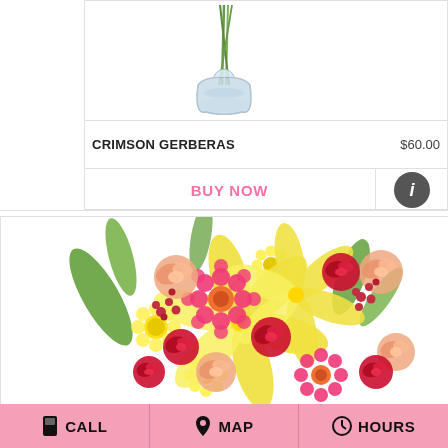[Figure (photo): A glass vase with green stems, partially cropped at top of page]
CRIMSON GERBERAS
$60.00
BUY NOW
[Figure (photo): Colorful floral bouquet with pink gerberas, yellow lilies, pink/peach/red roses, and yellow daisies on white background]
CALL   MAP   HOURS